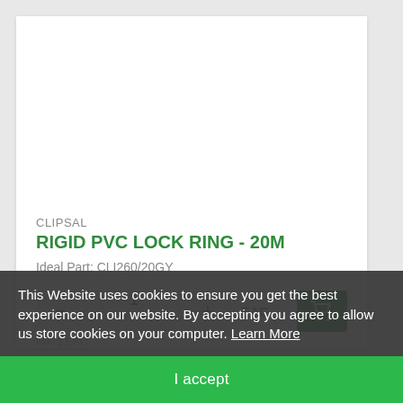[Figure (photo): White/empty product image area for Clipsal Rigid PVC Lock Ring]
CLIPSAL
RIGID PVC LOCK RING - 20M
Ideal Part: CLI260/20GY
1  EAC
Min 1 EAC
This Website uses cookies to ensure you get the best experience on our website. By accepting you agree to allow us store cookies on your computer. Learn More
I accept